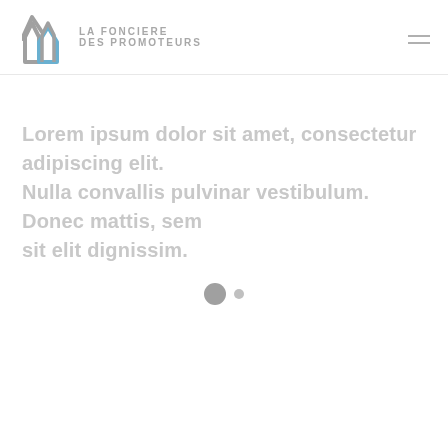[Figure (logo): La Fonciere Des Promoteurs logo — a stylized house/arrow icon in grey on the left, with 'LA FONCIERE DES PROMOTEURS' text in grey capitals to the right]
Lorem ipsum dolor sit amet, consectetur adipiscing elit. Nulla convallis pulvinar vestibulum. Donec mattis, sem sit elit dignissim.
[Figure (other): Loading indicator: one large grey circle and one small grey circle side by side]